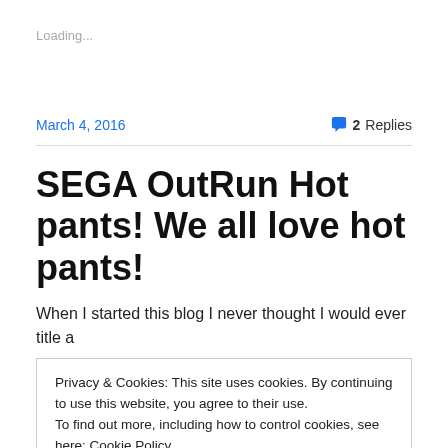Loading...
March 4, 2016
2 Replies
SEGA OutRun Hot pants! We all love hot pants!
When I started this blog I never thought I would ever title a
Privacy & Cookies: This site uses cookies. By continuing to use this website, you agree to their use.
To find out more, including how to control cookies, see here: Cookie Policy
Close and accept
[Figure (photo): Partial view of a colorful image at the bottom of the page, partially obscured.]